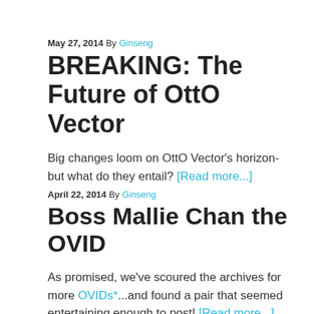May 27, 2014 By Ginseng
BREAKING: The Future of OttO Vector
Big changes loom on OttO Vector's horizon- but what do they entail? [Read more...]
April 22, 2014 By Ginseng
Boss Mallie Chan the OVID
As promised, we've scoured the archives for more OVIDs*...and found a pair that seemed entertaining enough to post! [Read more...]